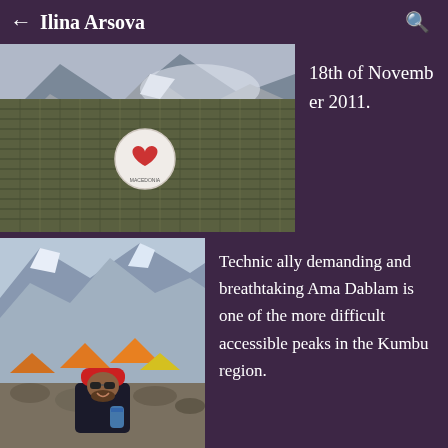← Ilina Arsova 🔍
[Figure (photo): Close-up of a person wearing a dark olive/green ribbed knit sweater with a circular badge/patch showing a heart logo with 'Macedonia' text, in a snowy mountain setting]
18th of November 2011.
[Figure (photo): A man wearing a red beanie hat and sunglasses sitting among rocks at a mountain base camp with orange tents and dramatic snowy peaks in the background, holding a can]
Technically demanding and breathtaking Ama Dablam is one of the more difficult accessible peaks in the Kumbu region.